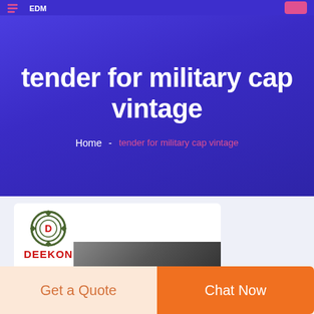tender for military cap vintage
Home - tender for military cap vintage
[Figure (logo): DEEKON company logo with circular emblem and red text]
[Figure (photo): Close-up photo of military cap vintage]
Get a Quote
Chat Now